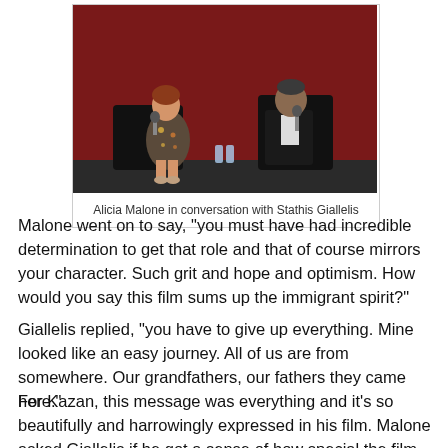[Figure (photo): Two people seated on stage during a Q&A or interview event. A woman in a floral dress on the left holding a microphone, and a man in a dark suit on the right, with a red curtain backdrop.]
Alicia Malone in conversation with Stathis Giallelis
Malone went on to say, "you must have had incredible determination to get that role and that of course mirrors your character. Such grit and hope and optimism. How would you say this film sums up the immigrant spirit?"
Giallelis replied, "you have to give up everything. Mine looked like an easy journey. All of us are from somewhere. Our grandfathers, our fathers they came here."
For Kazan, this message was everything and it's so beautifully and harrowingly expressed in his film. Malone asked Giallelis if he got a sense of how special the film was to Kazan while they were on set. Giallelis replied, "yes many times. Sometimes after a scene he'd be hiding on the set...